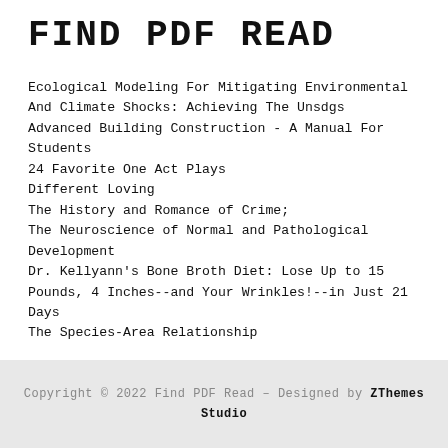FIND PDF READ
Ecological Modeling For Mitigating Environmental And Climate Shocks: Achieving The Unsdgs
Advanced Building Construction - A Manual For Students
24 Favorite One Act Plays
Different Loving
The History and Romance of Crime;
The Neuroscience of Normal and Pathological Development
Dr. Kellyann's Bone Broth Diet: Lose Up to 15 Pounds, 4 Inches--and Your Wrinkles!--in Just 21 Days
The Species-Area Relationship
Copyright © 2022 Find PDF Read – Designed by ZThemes Studio